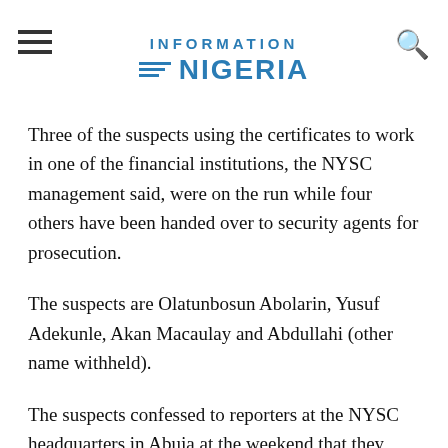INFORMATION NIGERIA
Three of the suspects using the certificates to work in one of the financial institutions, the NYSC management said, were on the run while four others have been handed over to security agents for prosecution.
The suspects are Olatunbosun Abolarin, Yusuf Adekunle, Akan Macaulay and Abdullahi (other name withheld).
The suspects confessed to reporters at the NYSC headquarters in Abuja at the weekend that they paid money ranging from N25,000; N40,000; N60,000 and N20,000 to get the fake certificates.
Speaking at the handing over in Abuja, the NYSC Director of Certification, Alhaji Hudu Aliyu Taura, said the arrest was made possible through the cooperation of the suspects'